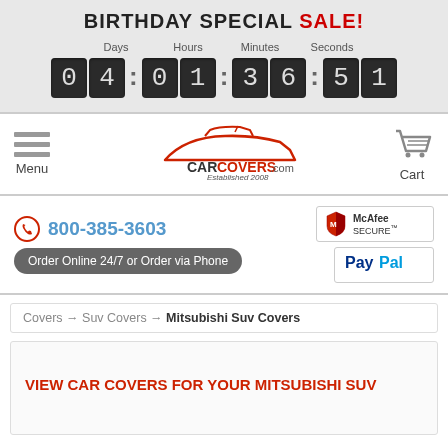BIRTHDAY SPECIAL SALE!
[Figure (infographic): Countdown timer showing 04:01:36:51 in dark flip-clock style blocks with labels Days, Hours, Minutes, Seconds]
[Figure (logo): Car Covers .com Established 2008 logo with red car silhouette outline]
[Figure (infographic): Hamburger menu icon with three horizontal bars and Menu label]
[Figure (infographic): Shopping cart icon with Cart label]
800-385-3603
Order Online 24/7 or Order via Phone
[Figure (logo): McAfee SECURE badge]
[Figure (logo): PayPal logo badge]
Covers → Suv Covers → Mitsubishi Suv Covers
VIEW CAR COVERS FOR YOUR MITSUBISHI SUV